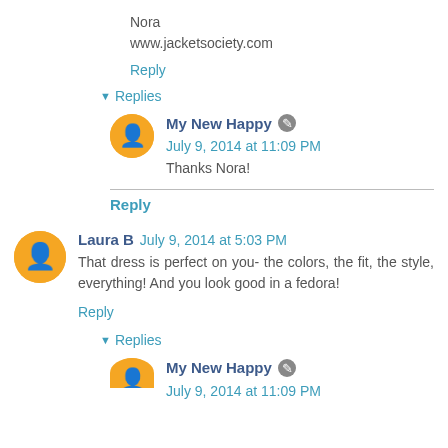Nora
www.jacketsociety.com
Reply
▾ Replies
My New Happy  July 9, 2014 at 11:09 PM
Thanks Nora!
Reply
Laura B  July 9, 2014 at 5:03 PM
That dress is perfect on you- the colors, the fit, the style, everything! And you look good in a fedora!
Reply
▾ Replies
My New Happy  July 9, 2014 at 11:09 PM